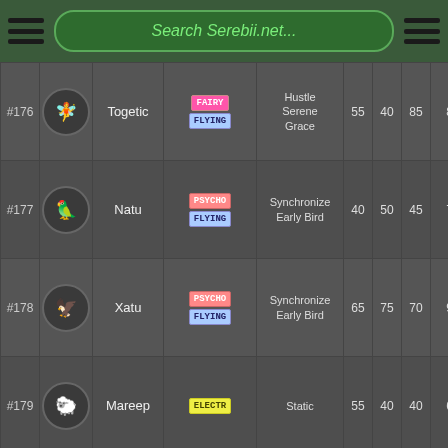Search Serebii.net...
| # | Sprite | Name | Type | Abilities | HP | Atk | Def | Sp.Atk |
| --- | --- | --- | --- | --- | --- | --- | --- | --- |
| #176 |  | Togetic | FAIRY FLYING | Hustle
Serene Grace | 55 | 40 | 85 | 80 |
| #177 |  | Natu | PSYCHO FLYING | Synchronize
Early Bird | 40 | 50 | 45 | 70 |
| #178 |  | Xatu | PSYCHO FLYING | Synchronize
Early Bird | 65 | 75 | 70 | 95 |
| #179 |  | Mareep | ELECTR | Static | 55 | 40 | 40 | 65 |
| #180 |  | Flaaffy | ELECTR | Static | 70 | 55 | 55 | 80 |
| #181 |  | Ampharos | ELECTR | Static | 90 | 75 | 85 | 115 |
| #182 |  | Bellossom | GRASS | Chlorophyll | 75 | 80 | 95 | 90 |
| #183 |  | Marill | WATER FAIRY | Thick Fat | 70 | 20 | 50 |  |